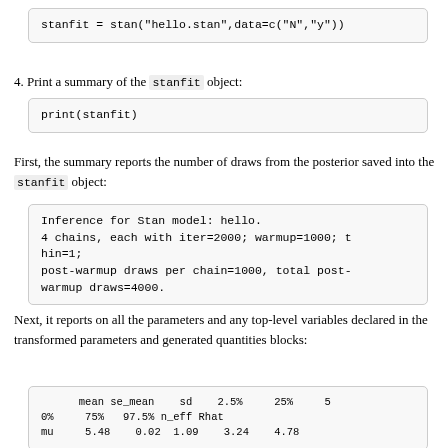stanfit = stan("hello.stan",data=c("N","y"))
4. Print a summary of the stanfit object:
print(stanfit)
First, the summary reports the number of draws from the posterior saved into the stanfit object:
Inference for Stan model: hello.
4 chains, each with iter=2000; warmup=1000; thin=1;
post-warmup draws per chain=1000, total post-warmup draws=4000.
Next, it reports on all the parameters and any top-level variables declared in the transformed parameters and generated quantities blocks:
|  | mean | se_mean | sd | 2.5% | 25% | 50% | 75% | 97.5% | n_eff | Rhat |
| --- | --- | --- | --- | --- | --- | --- | --- | --- | --- | --- |
| mu | 5.48 | 0.02 | 1.09 | 3.24 | 4.78 |  |  |  |  |  |